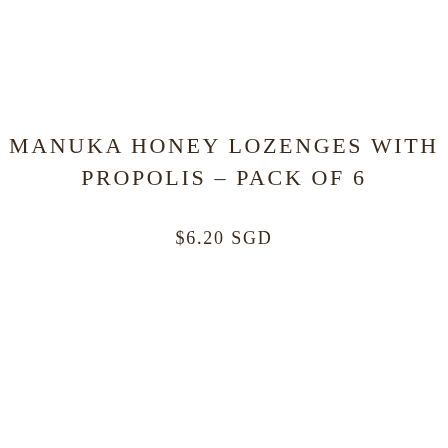MANUKA HONEY LOZENGES WITH PROPOLIS – PACK OF 6
$6.20 SGD